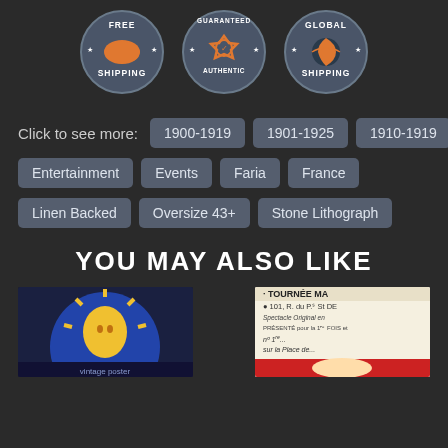[Figure (infographic): Three circular badge icons: Free Shipping (USA map, orange), Guaranteed Authentic (ribbon/medal, orange), Global Shipping (world globe, orange). Dark grey background with star decorations.]
Click to see more:  1900-1919  1901-1925  1910-1919
Entertainment  Events  Faria  France
Linen Backed  Oversize 43+  Stone Lithograph
YOU MAY ALSO LIKE
[Figure (photo): Partial view of a vintage poster showing a sun/moon figure in blue and yellow/gold colors]
[Figure (photo): Partial view of a vintage poster showing text 'TOURNEE MA...' with address '101, R. du P... St DE...' and additional French text]